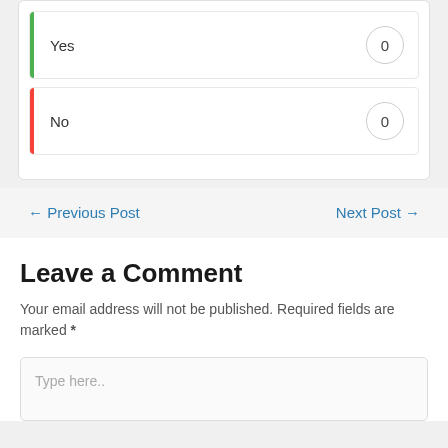Yes  0
No  0
← Previous Post    Next Post →
Leave a Comment
Your email address will not be published. Required fields are marked *
Type here..